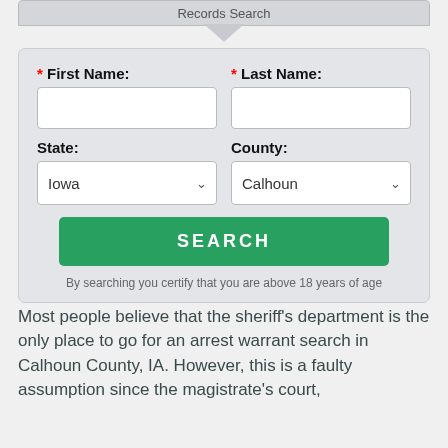[Figure (screenshot): Records Search form UI screenshot with partial header visible at top]
By searching you certify that you are above 18 years of age
Most people believe that the sheriff's department is the only place to go for an arrest warrant search in Calhoun County, IA. However, this is a faulty assumption since the magistrate's court,